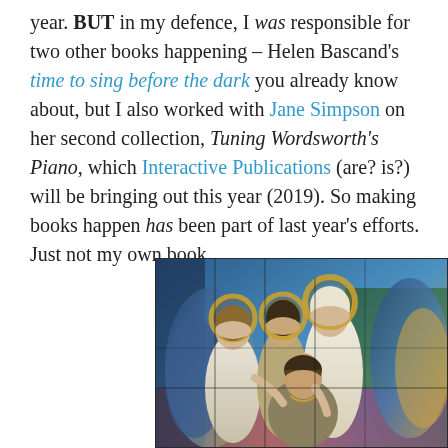year. BUT in my defence, I was responsible for two other books happening – Helen Bascand's time to sing before the dark you already know about, but I also worked with Jane Simpson on her second collection, Tuning Wordsworth's Piano, which Interactive Publications (are? is?) will be bringing out this year (2019). So making books happen has been part of last year's efforts. Just not my own book ...
[Figure (photo): A stained glass artwork depicting four angelic female figures with halos. Three standing figures with wings surround a fourth seated figure, set against a colorful background with blues, greens, and warm tones. The style is reminiscent of Tiffany stained glass.]